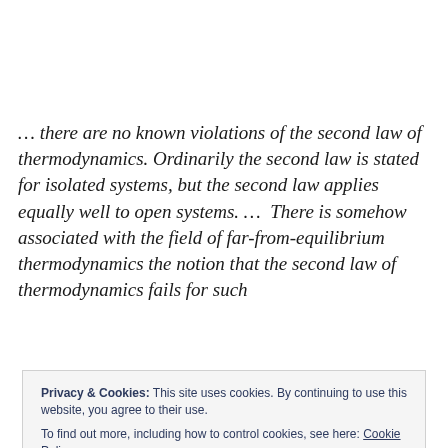… there are no known violations of the second law of thermodynamics. Ordinarily the second law is stated for isolated systems, but the second law applies equally well to open systems. …  There is somehow associated with the field of far-from-equilibrium thermodynamics the notion that the second law of thermodynamics fails for such
Privacy & Cookies: This site uses cookies. By continuing to use this website, you agree to their use.
To find out more, including how to control cookies, see here: Cookie Policy

Close and accept
converting the energy from the sun into something useful